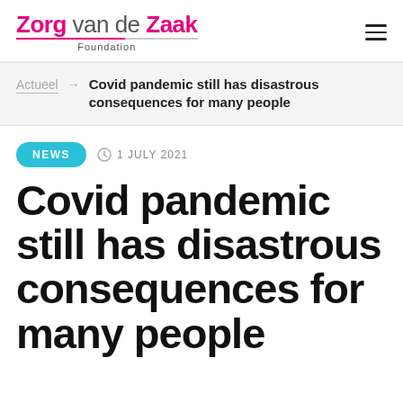Zorg van de Zaak Foundation
Actueel → Covid pandemic still has disastrous consequences for many people
NEWS  1 JULY 2021
Covid pandemic still has disastrous consequences for many people